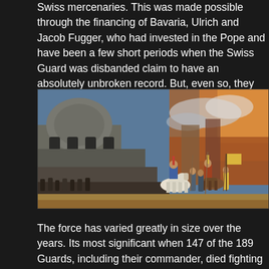Swiss mercenaries. This was made possible through the financing of Bavaria, Ulrich and Jacob Fugger, who had invested in the Pope and have been a few short periods when the Swiss Guard was disbanded claim to have an absolutely unbroken record. But, even so, they are existence. They are also the smallest.
[Figure (photo): Historical painting depicting the Sack of Rome, showing soldiers on horseback and on foot attacking a city, with a large domed building on the left side and fire and smoke visible in the background on the right.]
The force has varied greatly in size over the years. Its most significant when 147 of the 189 Guards, including their commander, died fighting Charles V in the stand of the Swiss Guard during the Sack of Rome through the Passetto di Borgo, escorted by the other 40 guards. The side of St Peter's Basilica, close to the Campo Santo Teutonico (Ger